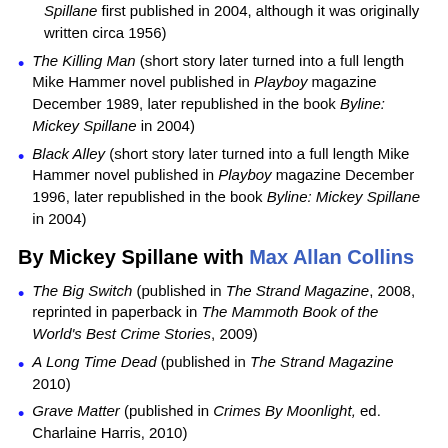Spillane first published in 2004, although it was originally written circa 1956)
The Killing Man (short story later turned into a full length Mike Hammer novel published in Playboy magazine December 1989, later republished in the book Byline: Mickey Spillane in 2004)
Black Alley (short story later turned into a full length Mike Hammer novel published in Playboy magazine December 1996, later republished in the book Byline: Mickey Spillane in 2004)
By Mickey Spillane with Max Allan Collins
The Big Switch (published in The Strand Magazine, 2008, reprinted in paperback in The Mammoth Book of the World's Best Crime Stories, 2009)
A Long Time Dead (published in The Strand Magazine 2010)
Grave Matter (published in Crimes By Moonlight, ed. Charlaine Harris, 2010)
Skin (e-book short story 2012)
So Long, Chief (published in The Strand Magazine, Issue XXXIX, Feb. - May 2013)
It's In The Book (e-book short story 2014)